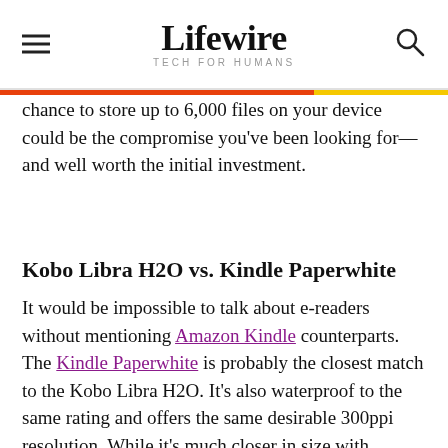Lifewire — TECH FOR HUMANS
chance to store up to 6,000 files on your device could be the compromise you've been looking for—and well worth the initial investment.
Kobo Libra H2O vs. Kindle Paperwhite
It would be impossible to talk about e-readers without mentioning Amazon Kindle counterparts. The Kindle Paperwhite is probably the closest match to the Kobo Libra H2O. It's also waterproof to the same rating and offers the same desirable 300ppi resolution. While it's much closer in size with